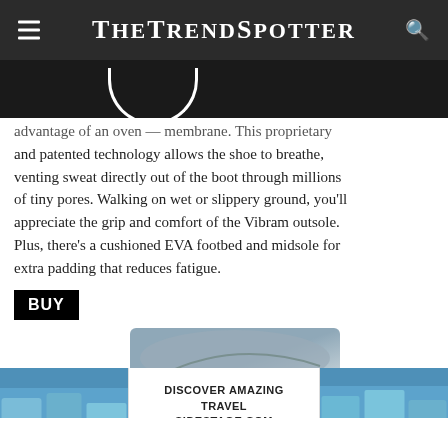TheTrendSpotter
[Figure (photo): Dark background with partial white circle/logo at bottom, cropped shoe image area]
advantage of an oven — membrane. This proprietary and patented technology allows the shoe to breathe, venting sweat directly out of the boot through millions of tiny pores. Walking on wet or slippery ground, you'll appreciate the grip and comfort of the Vibram outsole. Plus, there's a cushioned EVA footbed and midsole for extra padding that reduces fatigue.
BUY
[Figure (photo): Advertisement banner showing Alaska glacier images with text 'DISCOVER AMAZING TRAVEL SIDESTAGE.COM']